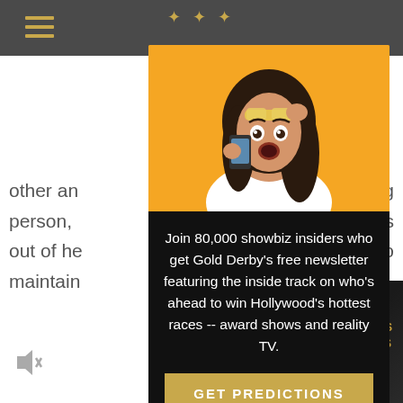[Figure (screenshot): Website background showing a hamburger menu icon in gold/tan color on a dark grey top bar, with partial article text visible on white background on left and right sides, and an Ozark TV show advertisement in the bottom right corner. A muted speaker icon appears in the bottom left.]
[Figure (photo): Modal popup overlay with a photo of a surprised young woman with dark hair, touching her sunglasses and looking at her phone, against a bright orange/yellow background.]
Join 80,000 showbiz insiders who get Gold Derby's free newsletter featuring the inside track on who's ahead to win Hollywood's hottest races -- award shows and reality TV.
GET PREDICTIONS
No thanks